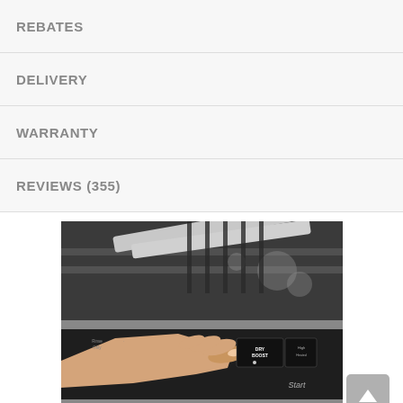REBATES
DELIVERY
WARRANTY
REVIEWS (355)
[Figure (photo): A hand pressing a button on a dishwasher control panel, with the dishwasher interior visible in the background. The control panel shows buttons including DRY BOOST and Start.]